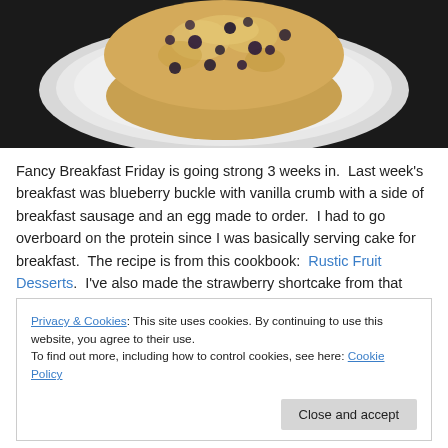[Figure (photo): A blueberry buckle muffin/cake on a white plate, viewed from above, on a dark background]
Fancy Breakfast Friday is going strong 3 weeks in.  Last week's breakfast was blueberry buckle with vanilla crumb with a side of breakfast sausage and an egg made to order.  I had to go overboard on the protein since I was basically serving cake for breakfast.  The recipe is from this cookbook:  Rustic Fruit Desserts.  I've also made the strawberry shortcake from that cookbook and it is
Privacy & Cookies: This site uses cookies. By continuing to use this website, you agree to their use.
To find out more, including how to control cookies, see here: Cookie Policy
tart.  Blueberries make this perfect.  It also calls fora 9×9